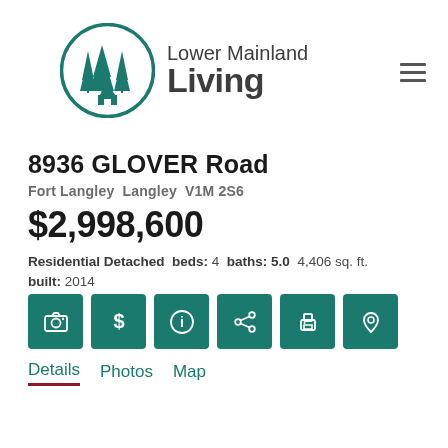[Figure (logo): Lower Mainland Living logo with circular tree/house icon in teal and text 'Lower Mainland Living']
8936 GLOVER Road
Fort Langley  Langley  V1M 2S6
$2,998,600
Residential Detached  beds: 4  baths: 5.0  4,406 sq. ft.  built: 2014
[Figure (infographic): Six teal icon buttons: camera, dollar sign, info, share, print, location pin]
Details  Photos  Map